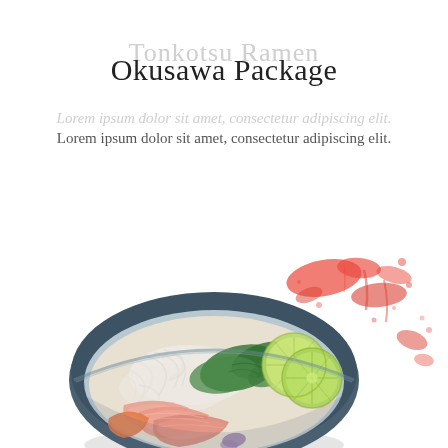Okusawa Package
Lorem ipsum dolor sit amet, consectetur adipiscing elit.
[Figure (photo): A Japanese sashimi bowl from above, featuring slices of raw fish, shredded daikon radish, green shiso leaves, lime/lemon slices, and other garnishes in a dark blue ceramic bowl, with a red ink splatter in the background.]